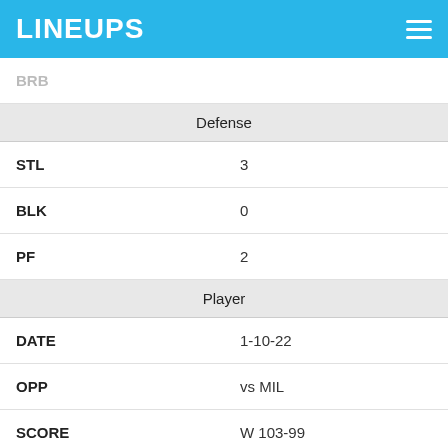LINEUPS
| Category | Value |
| --- | --- |
| BRB |  |
| Defense |  |
| STL | 3 |
| BLK | 0 |
| PF | 2 |
| Player |  |
| DATE | 1-10-22 |
| OPP | vs MIL |
| SCORE | W 103-99 |
| MINS | 36 |
| Fantasy Points |  |
| FPTS | 27.3 |
| FPTS/MIN | 0.8 |